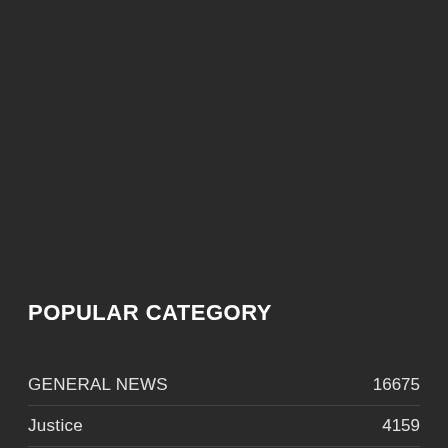POPULAR CATEGORY
| Category | Count |
| --- | --- |
| GENERAL NEWS | 16675 |
| Justice | 4159 |
| MAIN NEWS | 3240 |